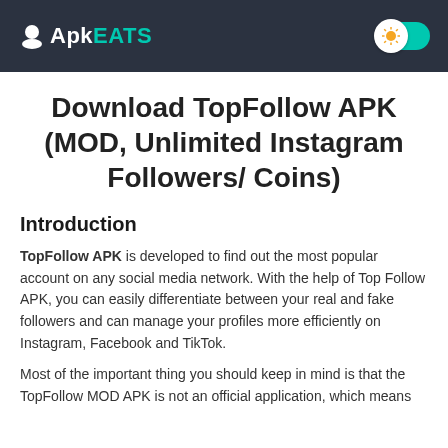ApkEATS
Download TopFollow APK (MOD, Unlimited Instagram Followers/ Coins)
Introduction
TopFollow APK is developed to find out the most popular account on any social media network. With the help of Top Follow APK, you can easily differentiate between your real and fake followers and can manage your profiles more efficiently on Instagram, Facebook and TikTok.
Most of the important thing you should keep in mind is that the TopFollow MOD APK is not an official application, which means